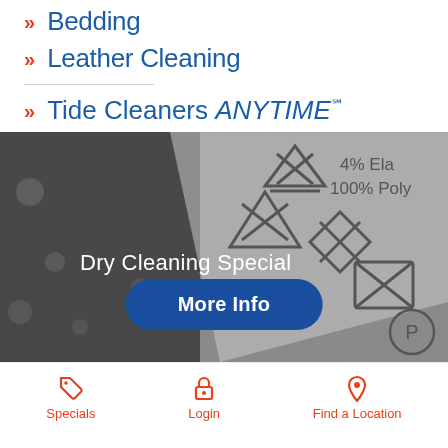Bedding
Leather Cleaning
Tide Cleaners ANYTIME℠
[Figure (photo): Grayscale photo of fabric care/dry cleaning symbols on a garment label, showing various wash and dry-clean icons, with text '4% Ela... 100% Poly...' visible. Overlaid text reads 'Dry Cleaning Special' with a 'More Info' button.]
Specials   Login   Find a Location